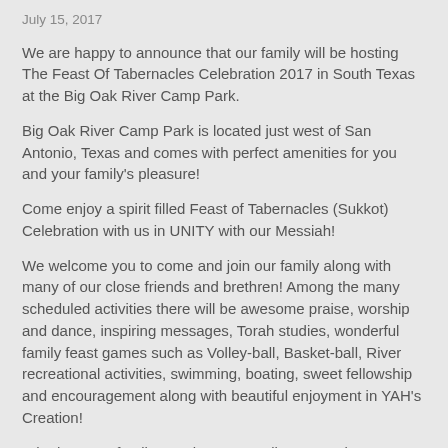July 15, 2017
We are happy to announce that our family will be hosting The Feast Of Tabernacles Celebration 2017 in South Texas at the Big Oak River Camp Park.
Big Oak River Camp Park is located just west of San Antonio, Texas and comes with perfect amenities for you and your family's pleasure!
Come enjoy a spirit filled Feast of Tabernacles (Sukkot) Celebration with us in UNITY with our Messiah!
We welcome you to come and join our family along with many of our close friends and brethren! Among the many scheduled activities there will be awesome praise, worship and dance, inspiring messages, Torah studies, wonderful family feast games such as Volley-ball, Basket-ball, River recreational activities, swimming, boating, sweet fellowship and encouragement along with beautiful enjoyment in YAH's Creation!
Whether your family members are well-seasoned campers or prefer the comforts of the camp cabin housing, there's a spot just for you! We welcome you, not only as our special guests, but also,